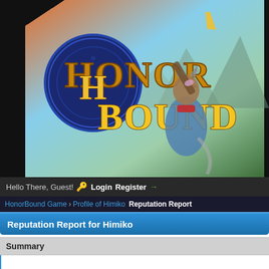[Figure (illustration): HonorBound game banner showing the game logo with golden 'HonorBound' text on a blue circular emblem and a warrior character holding a weapon, on a fantasy background of sky and mountains]
Hello There, Guest! 🔑 Login Register →
HonorBound Game  Profile of Himiko  Reputation Report
Reputation Report for Himiko
Summary